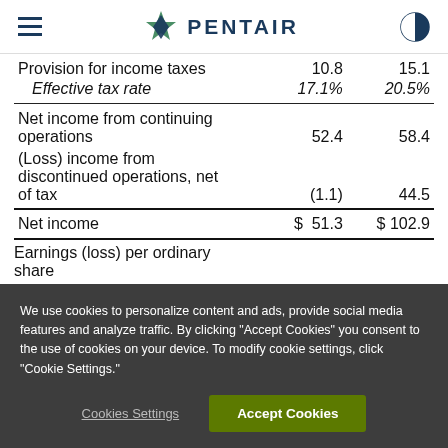Pentair
|  |  |  |
| --- | --- | --- |
| Provision for income taxes | 10.8 | 15.1 |
| Effective tax rate | 17.1% | 20.5% |
| Net income from continuing operations | 52.4 | 58.4 |
| (Loss) income from discontinued operations, net of tax | (1.1) | 44.5 |
| Net income | $ 51.3 | $ 102.9 |
Earnings (loss) per ordinary share
We use cookies to personalize content and ads, provide social media features and analyze traffic. By clicking "Accept Cookies" you consent to the use of cookies on your device. To modify cookie settings, click "Cookie Settings."
Cookies Settings
Accept Cookies